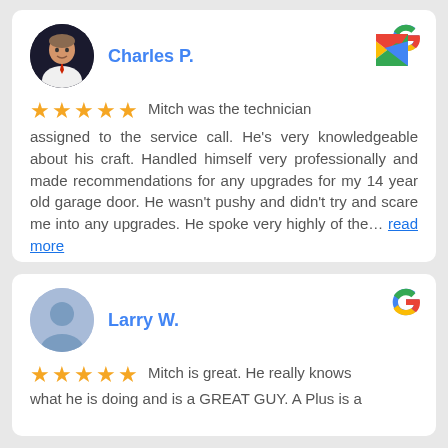[Figure (other): Google review card for Charles P. with 5-star rating. Profile photo shows a middle-aged man in white shirt and red tie. Review text: Mitch was the technician assigned to the service call. He's very knowledgeable about his craft. Handled himself very professionally and made recommendations for any upgrades for my 14 year old garage door. He wasn't pushy and didn't try and scare me into any upgrades. He spoke very highly of the… read more]
[Figure (other): Google review card for Larry W. with 5-star rating. Profile icon shows default blue silhouette avatar. Review text (partial): Mitch is great. He really knows what he is doing and is a GREAT GUY. A Plus is a...]